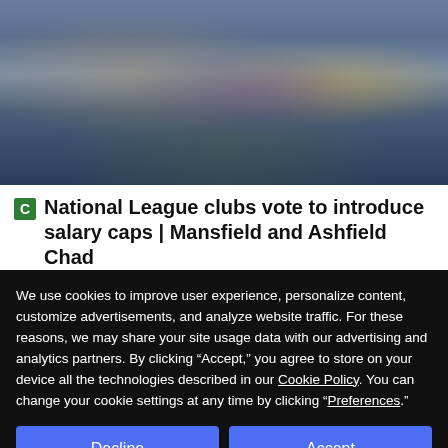[Figure (photo): Football match photo showing players in purple/blue striped kits and yellow/black kit competing for the ball on a football pitch.]
National League clubs vote to introduce salary caps | Mansfield and Ashfield Chad
WWW.CHAD.CO.UK
We use cookies to improve user experience, personalize content, customize advertisements, and analyze website traffic. For these reasons, we may share your site usage data with our advertising and analytics partners. By clicking “Accept,” you agree to store on your device all the technologies described in our Cookie Policy. You can change your cookie settings at any time by clicking “Preferences.”